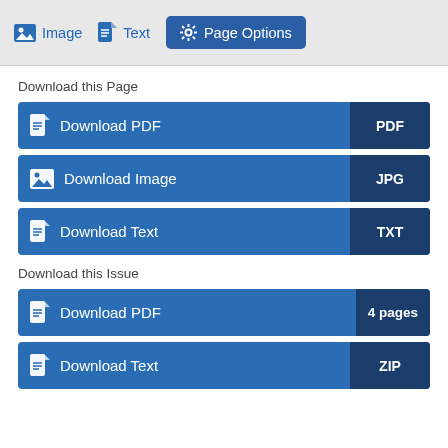Image  Text  Page Options
Download this Page
Download PDF  PDF
Download Image  JPG
Download Text  TXT
Download this Issue
Download PDF  4 pages
Download Text  ZIP